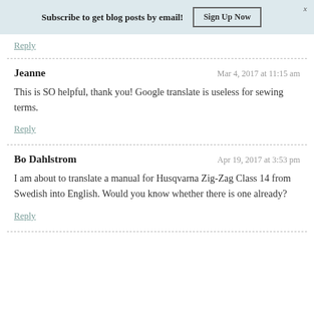Subscribe to get blog posts by email! Sign Up Now
Reply
Jeanne  Mar 4, 2017 at 11:15 am
This is SO helpful, thank you! Google translate is useless for sewing terms.
Reply
Bo Dahlstrom  Apr 19, 2017 at 3:53 pm
I am about to translate a manual for Husqvarna Zig-Zag Class 14 from Swedish into English. Would you know whether there is one already?
Reply